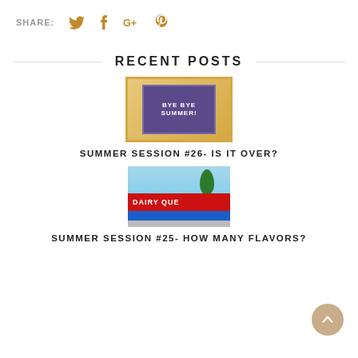SHARE:  𝕏  f  G+  𝗽
RECENT POSTS
[Figure (photo): Chalkboard sign reading 'BYE BYE SUMMER!' with sandy beach setting and orange frame]
SUMMER SESSION #26- IS IT OVER?
[Figure (photo): Dairy Queen restaurant exterior with sign partially visible, tree in background]
SUMMER SESSION #25- HOW MANY FLAVORS?